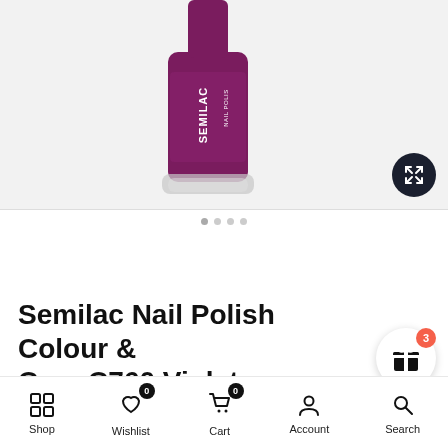[Figure (photo): Semilac nail polish bottle in deep violet/purple color, showing upper portion of bottle with SEMILAC NAIL POLISH branding. Light gray background. Expand/fullscreen button (dark circle with arrows icon) in bottom right corner.]
Semilac Nail Polish Colour & Care C760 Violet
Shop | Wishlist (0) | Cart (0) | Account | Search